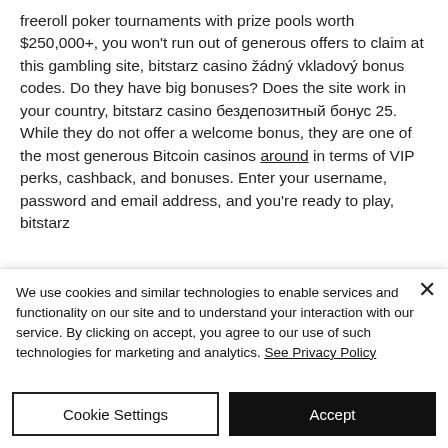freeroll poker tournaments with prize pools worth $250,000+, you won't run out of generous offers to claim at this gambling site, bitstarz casino žádný vkladový bonus codes. Do they have big bonuses? Does the site work in your country, bitstarz casino бездепозитный бонус 25. While they do not offer a welcome bonus, they are one of the most generous Bitcoin casinos around in terms of VIP perks, cashback, and bonuses. Enter your username, password and email address, and you're ready to play, bitstarz
We use cookies and similar technologies to enable services and functionality on our site and to understand your interaction with our service. By clicking on accept, you agree to our use of such technologies for marketing and analytics. See Privacy Policy
Cookie Settings
Accept